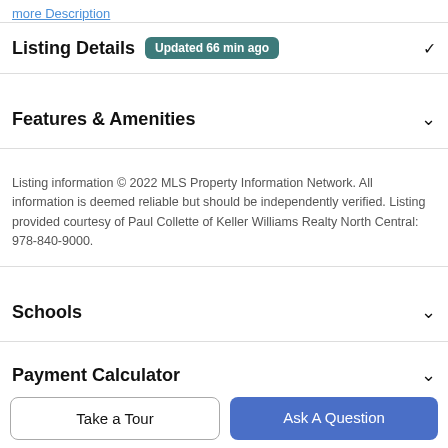more Description
Listing Details Updated 66 min ago
Features & Amenities
Listing information © 2022 MLS Property Information Network. All information is deemed reliable but should be independently verified. Listing provided courtesy of Paul Collette of Keller Williams Realty North Central: 978-840-9000.
Schools
Payment Calculator
Contact Agent
Take a Tour
Ask A Question